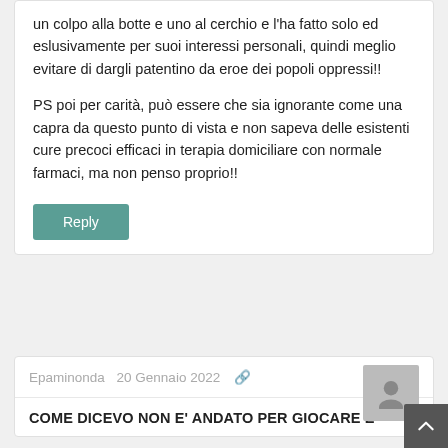un colpo alla botte e uno al cerchio e l'ha fatto solo ed eslusivamente per suoi interessi personali, quindi meglio evitare di dargli patentino da eroe dei popoli oppressi!!
PS poi per carità, può essere che sia ignorante come una capra da questo punto di vista e non sapeva delle esistenti cure precoci efficaci in terapia domiciliare con normale farmaci, ma non penso proprio!!
Reply
Epaminonda  20 Gennaio 2022
COME DICEVO NON E' ANDATO PER GIOCARE E